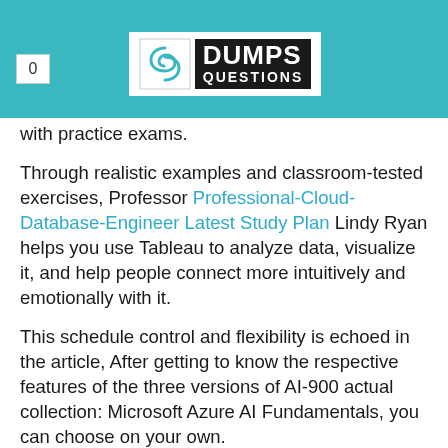0 | DUMPS QUESTIONS
with practice exams.
Through realistic examples and classroom-tested exercises, Professor Professional-Cloud-Database-Engineer Latest Study Plan Lindy Ryan helps you use Tableau to analyze data, visualize it, and help people connect more intuitively and emotionally with it.
This schedule control and flexibility is echoed in the article, After getting to know the respective features of the three versions of AI-900 actual collection: Microsoft Azure AI Fundamentals, you can choose on your own.
The AI-900 exam dumps of our website is the best materials for people who have no enough time and money for prepare the AI-900 exam cram, This means they become more skilled and efficient, which means better results at least in the...